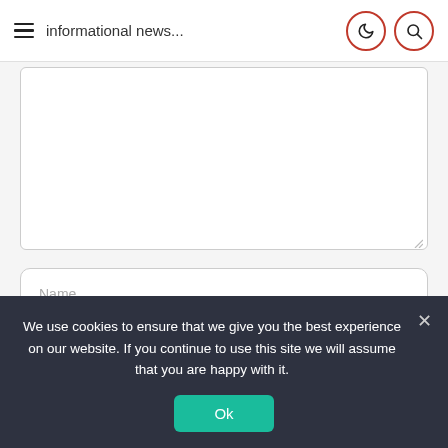informational news...
[Figure (screenshot): Textarea form field (empty, with resize handle)]
Name
Email
Website
We use cookies to ensure that we give you the best experience on our website. If you continue to use this site we will assume that you are happy with it.
Ok